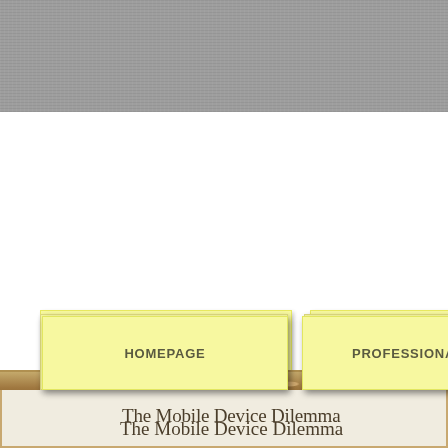[Figure (screenshot): Website navigation screenshot showing a grey textured header bar at top, white content area, three yellow sticky-note style navigation tabs labeled HOMEPAGE, PROFESSIONAL EXPERTISE, and DEGRE[E...], a sandy/dirt texture strip, and the beginning of a cream-colored notebook area with the partial title 'The Mobile Device Dilemma']
HOMEPAGE
PROFESSIONAL EXPERTISE
DEGRE
The Mobile Device Dilemma